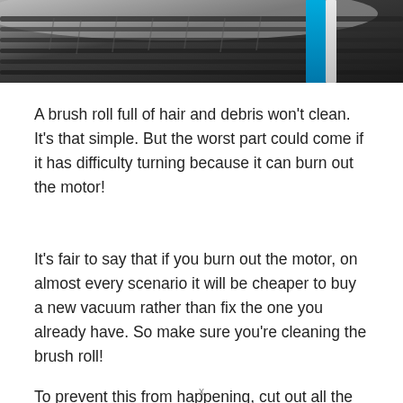[Figure (photo): Close-up photo of a vacuum cleaner brush roll with dark bristles and a blue stripe/element, viewed from above.]
A brush roll full of hair and debris won't clean. It's that simple. But the worst part could come if it has difficulty turning because it can burn out the motor!
It's fair to say that if you burn out the motor, on almost every scenario it will be cheaper to buy a new vacuum rather than fix the one you already have. So make sure you're cleaning the brush roll!
To prevent this from happening, cut out all the hair and
x